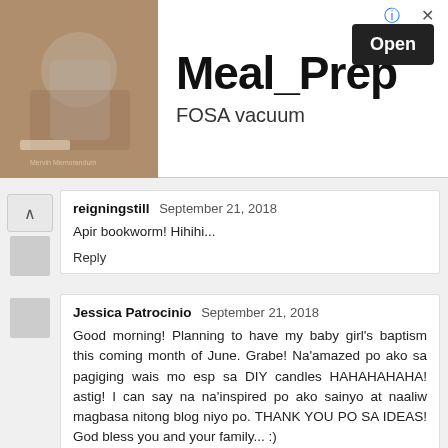[Figure (screenshot): Advertisement banner for Meal_Prep FOSA vacuum app with photo of person cooking and Open button]
reigningstill  September 21, 2018
Apir bookworm! Hihihi...
Reply
Jessica Patrocinio  September 21, 2018
Good morning! Planning to have my baby girl's baptism this coming month of June. Grabe! Na'amazed po ako sa pagiging wais mo esp sa DIY candles HAHAHAHAHA! astig! I can say na na'inspired po ako sainyo at naaliw magbasa nitong blog niyo po. THANK YOU PO SA IDEAS! God bless you and your family... :)
Reply
reigningstill  September 21, 2018
Thank you so much Jessica! :) I am so glad this post...